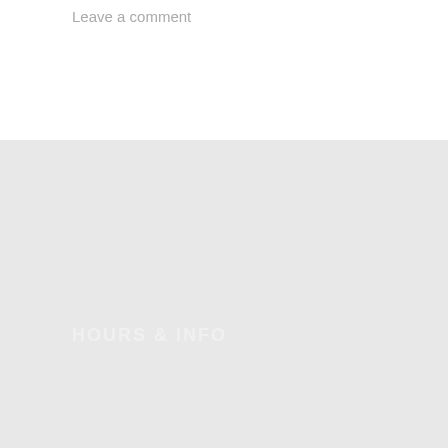Leave a comment
HOURS & INFO
R223 One University Blvd,
University of Missouri St Louis
St Louis, MO 63121 USA